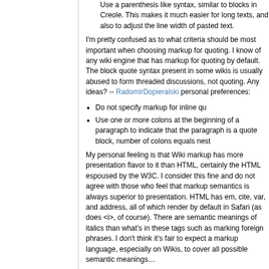Use a parenthesis like syntax, similar to blocks in Creole. This makes it much easier for long texts, and also to adjust the line width of pasted text.
I'm pretty confused as to what criteria should be most important when choosing markup for quoting. I know of any wiki engine that has markup for quoting by default. The block quote syntax present in some wikis is usually abused to form threaded discussions, not quoting. Any ideas? -- RadomirDopieralski personal preferences:
Do not specify markup for inline qu...
Use one or more colons at the beginning of a paragraph to indicate that the paragraph is a quote block, number of colons equals nesting...
My personal feeling is that Wiki markup has more presentation flavor to it than HTML, certainly the HTML espoused by the W3C. I consider this fine and do not agree with those who feel that markup semantics is always superior to presentation. HTML has em, cite, var, and address, all of which render by default in Safari (as does <i>, of course). There are semantic meanings of italics than what's in these tags such as marking foreign phrases. I don't think it's fair to expect a markup language, especially one used on Wikis, to cover all possible semantic meanings...